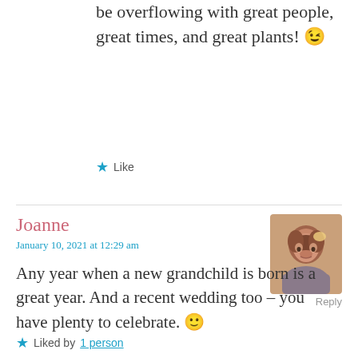be overflowing with great people, great times, and great plants! 😉
★ Like
Joanne
January 10, 2021 at 12:29 am
[Figure (photo): Profile photo of Joanne, a woman with brown hair]
Reply
Any year when a new grandchild is born is a great year. And a recent wedding too – you have plenty to celebrate. 🙂
★ Liked by 1 person